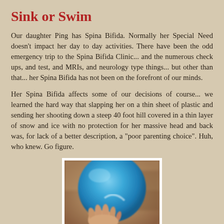Sink or Swim
Our daughter Ping has Spina Bifida.  Normally her Special Need doesn't impact her day to day activities.  There have been the odd emergency trip to the Spina Bifida Clinic... and the numerous check ups, and test, and MRIs, and neurology type things... but other than that... her Spina Bifida has not been on the forefront of our minds.
Her Spina Bifida affects some of our decisions of course... we learned the hard way that slapping her on a thin sheet of plastic and sending her shooting down a steep 40 foot hill covered in a thin layer of snow and ice with no protection for her massive head and back was, for lack of a better description, a "poor parenting choice".  Huh, who knew.  Go figure.
[Figure (photo): A child's hand touching a large blue exercise ball, photographed close-up with a blurred background]